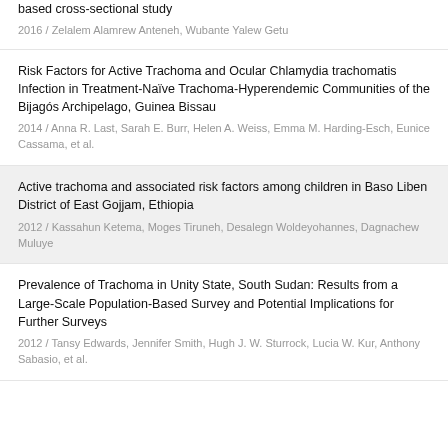based cross-sectional study
2016 / Zelalem Alamrew Anteneh, Wubante Yalew Getu
Risk Factors for Active Trachoma and Ocular Chlamydia trachomatis Infection in Treatment-Naïve Trachoma-Hyperendemic Communities of the Bijagós Archipelago, Guinea Bissau
2014 / Anna R. Last, Sarah E. Burr, Helen A. Weiss, Emma M. Harding-Esch, Eunice Cassama, et al.
Active trachoma and associated risk factors among children in Baso Liben District of East Gojjam, Ethiopia
2012 / Kassahun Ketema, Moges Tiruneh, Desalegn Woldeyohannes, Dagnachew Muluye
Prevalence of Trachoma in Unity State, South Sudan: Results from a Large-Scale Population-Based Survey and Potential Implications for Further Surveys
2012 / Tansy Edwards, Jennifer Smith, Hugh J. W. Sturrock, Lucia W. Kur, Anthony Sabasio, et al.